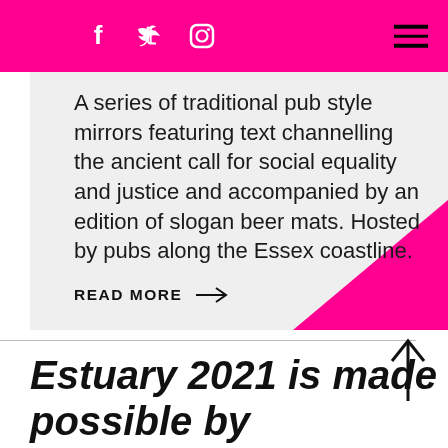Social media icons (Facebook, Twitter, Instagram) and hamburger menu
A series of traditional pub style mirrors featuring text channelling the ancient call for social equality and justice and accompanied by an edition of slogan beer mats. Hosted by pubs along the Essex coastline.
READ MORE →
Estuary 2021 is made possible by